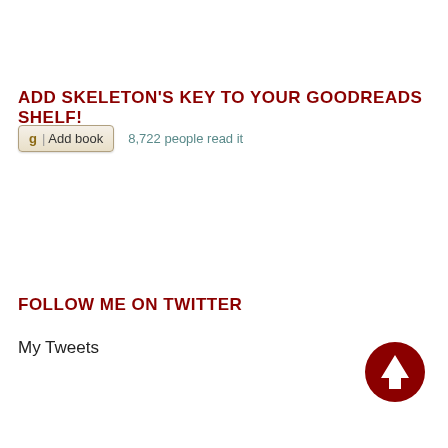ADD SKELETON'S KEY TO YOUR GOODREADS SHELF!
g | Add book   8,722 people read it
FOLLOW ME ON TWITTER
My Tweets
[Figure (other): Dark red circular scroll-to-top button with upward arrow icon]